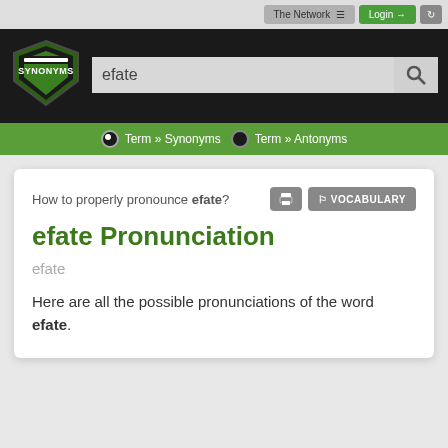The Network ≡  Login →  ↺
[Figure (logo): Synonyms shield logo in green and black with text SYNONYMS]
efate
Term » Synonyms   Term » Antonyms
How to properly pronounce efate?
efate Pronunciation
efate
Here are all the possible pronunciations of the word efate.